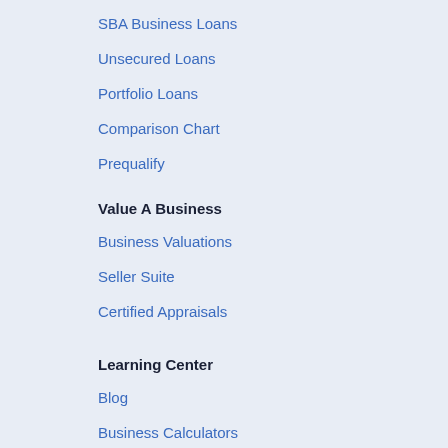401(k) Business Financing
SBA Business Loans
Unsecured Loans
Portfolio Loans
Comparison Chart
Prequalify
Value A Business
Business Valuations
Seller Suite
Certified Appraisals
Learning Center
Blog
Business Calculators
Client Success Stories
Editorial Guidelines